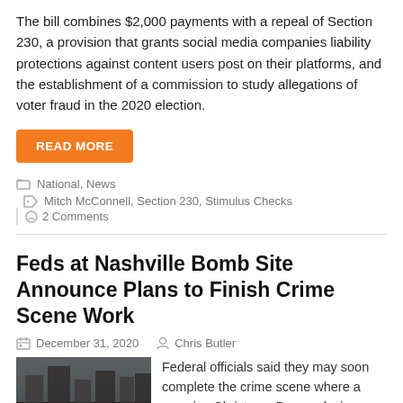The bill combines $2,000 payments with a repeal of Section 230, a provision that grants social media companies liability protections against content users post on their platforms, and the establishment of a commission to study allegations of voter fraud in the 2020 election.
READ MORE
National, News  Mitch McConnell, Section 230, Stimulus Checks  2 Comments
Feds at Nashville Bomb Site Announce Plans to Finish Crime Scene Work
December 31, 2020   Chris Butler
[Figure (photo): Damaged street scene from the Nashville Christmas Day bombing, showing rubble and destroyed buildings on Second Avenue.]
Federal officials said they may soon complete the crime scene where a massive Christmas Day explosion damaged at least 41 businesses on Second Avenue and collapsed one building. "FBI Evidence
on Second Avenue and collapsed one building. "FBI Evidence